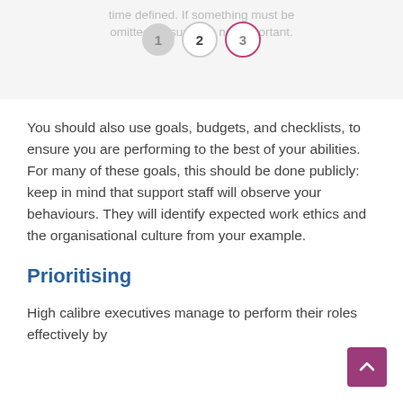time defined. If something must be omitted, ensure it is not important.
[Figure (infographic): Step indicator with 3 numbered circles. Circle 1 is filled grey (inactive/past), Circle 2 is outlined grey (active), Circle 3 is outlined with pink/magenta border.]
You should also use goals, budgets, and checklists, to ensure you are performing to the best of your abilities. For many of these goals, this should be done publicly: keep in mind that support staff will observe your behaviours. They will identify expected work ethics and the organisational culture from your example.
Prioritising
High calibre executives manage to perform their roles effectively by